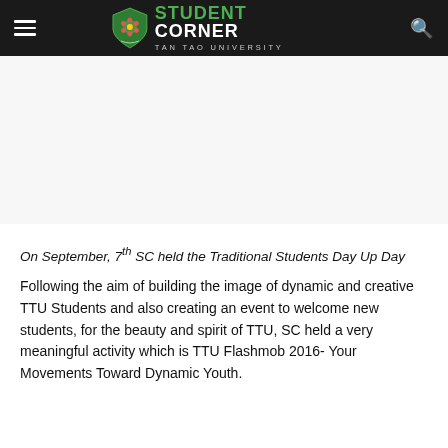STUDENT CORNER – TAN TAO UNIVERSITY
[Figure (photo): Blank/placeholder image area below the header, white/light gray background]
On September, 7th SC held the Traditional Students Day Up Day
Following the aim of building the image of dynamic and creative TTU Students and also creating an event to welcome new students, for the beauty and spirit of TTU, SC held a very meaningful activity which is TTU Flashmob 2016- Your Movements Toward Dynamic Youth.